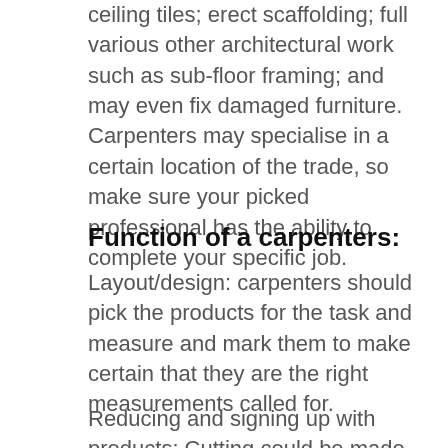ceiling tiles; erect scaffolding; full various other architectural work such as sub-floor framing; and may even fix damaged furniture. Carpenters may specialise in a certain location of the trade, so make sure your picked professional has the ability to complete your specific job.
Function of a carpenters:
Layout/design: carpenters should pick the products for the task and measure and mark them to make certain that they are the right measurements called for.
Reducing and signing up with products: Cutting could be made with power or